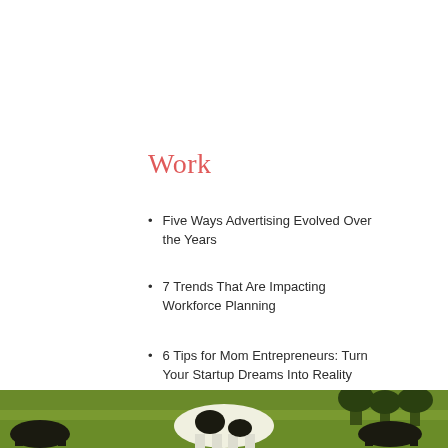Work
Five Ways Advertising Evolved Over the Years
7 Trends That Are Impacting Workforce Planning
6 Tips for Mom Entrepreneurs: Turn Your Startup Dreams Into Reality
[Figure (photo): Photo strip at bottom of page showing cows grazing in a green field]